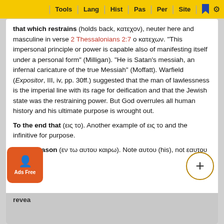Tools | Lang | Hist | Pas | Per | Site
that which restrains (holds back, κατεχον), neuter here and masculine in verse 2 Thessalonians 2:7 ο κατεχων. "This impersonal principle or power is capable also of manifesting itself under a personal form" (Milligan). "He is Satan's messiah, an infernal caricature of the true Messiah" (Moffatt). Warfield (Expositor, III, iv, pp. 30ff.) suggested that the man of lawlessness is the imperial line with its rage for deification and that the Jewish state was the restraining power. But God overrules all human history and his ultimate purpose is wrought out.
To the end that (εις το). Another example of εις το and the infinitive for purpose.
s own season (εν τω αυτου καιρω). Note αυτου (his), not εαυτου (his own).
revea